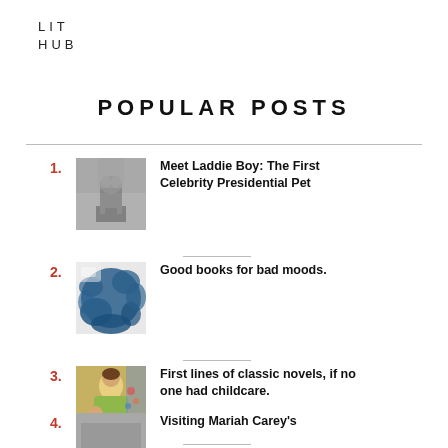LIT HUB
POPULAR POSTS
Meet Laddie Boy: The First Celebrity Presidential Pet
Good books for bad moods.
First lines of classic novels, if no one had childcare.
Visiting Mariah Carey's